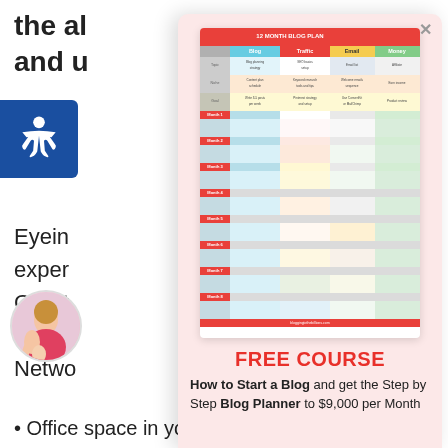the al and u
[Figure (screenshot): 12 Month Blog Plan table/chart showing columns for Blog, Traffic, Email, Money across multiple months]
FREE COURSE
How to Start a Blog and get the Step by Step Blog Planner to $9,000 per Month
Eyeing / exper / Great / with o / Netwo
But yo / of ite
Office space in your home. Turbotax